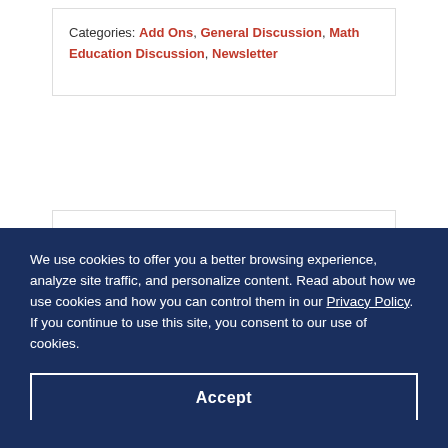Categories: Add Ons, General Discussion, Math Education Discussion, Newsletter
eMath September
We use cookies to offer you a better browsing experience, analyze site traffic, and personalize content. Read about how we use cookies and how you can control them in our Privacy Policy. If you continue to use this site, you consent to our use of cookies.
Accept